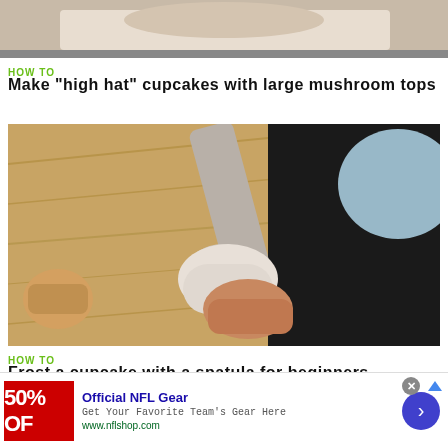[Figure (photo): Partial top photo showing cupcake with mushroom top, cropped at top of page]
HOW TO
Make "high hat" cupcakes with large mushroom tops
[Figure (photo): Photo of a hand holding a cupcake being frosted with a spatula on a wooden cutting board]
HOW TO
Frost a cupcake with a spatula for beginners
[Figure (infographic): Advertisement banner: Official NFL Gear - 50% OFF - Get Your Favorite Team's Gear Here - www.nflshop.com]